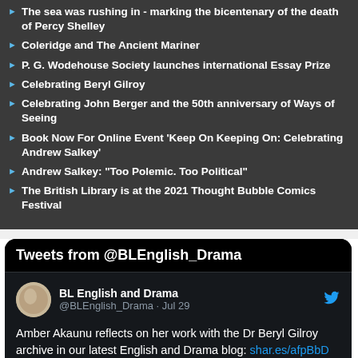The sea was rushing in - marking the bicentenary of the death of Percy Shelley
Coleridge and The Ancient Mariner
P. G. Wodehouse Society launches international Essay Prize
Celebrating Beryl Gilroy
Celebrating John Berger and the 50th anniversary of Ways of Seeing
Book Now For Online Event 'Keep On Keeping On: Celebrating Andrew Salkey'
Andrew Salkey: “Too Polemic. Too Political”
The British Library is at the 2021 Thought Bubble Comics Festival
Tweets from @BLEnglish_Drama
BL English and Drama @BLEnglish_Drama · Jul 29
Amber Akaunu reflects on her work with the Dr Beryl Gilroy archive in our latest English and Drama blog: shar.es/afpBbD